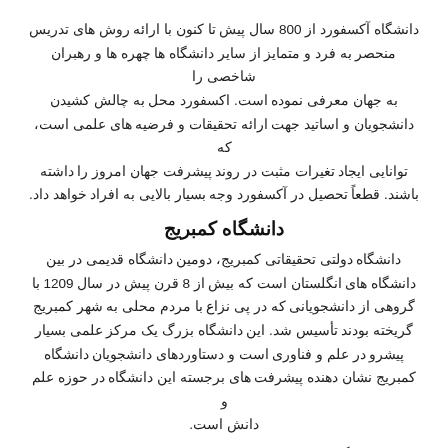دانشگاه آکسفورد از 800 سال پیش تا کنون با ارائه روش های تدریس منحصر به فرد و متمایز از سایر دانشگاه ها چهره ها و رهبران شاخصی را به جهان معرفی نموده است. اکسفورد محل به چالش کشیدن دانشجویان و اساتید جهت ارائه تحقیقات و فرضیه های علمی است، که توانایی ایجاد تغیرات مثبت در روند پیشرفت جهان امروز را داشته باشند. قطعاً تحصیل در آکسفورد وجه بسیار بالایی به افراد خواهد داد.
دانشگاه کمبریج
دانشگاه دولتی تحقیقاتی کمبریج، دومین دانشگاه قدیمی در بین دانشگاه های انگلستان است که بیش از 8 قرن پیش در سال 1209 با گروهی از دانشجویانی که در پی نزاع با مردم محلی به شهر کمبریج گریخته بودند تأسیس شد. این دانشگاه بزرگ یک مرکز علمی بسیار پیشرو در علم و فناوری است و دستاوردهای دانشجویان دانشگاه کمبریج نشان دهنده پیشرفت های برجسته این دانشگاه در حوزه علم و دانش است.
این دانشگاه در کارنامه پربار خود نام بسیاری از فارغ التحصلان